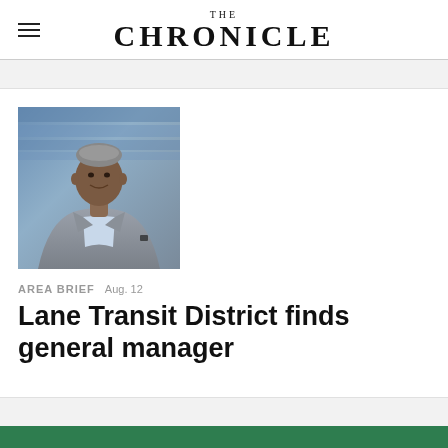THE CHRONICLE
[Figure (photo): Professional headshot of a man in a gray blazer and light blue shirt, smiling, with stadium seating in the background.]
AREA BRIEF  Aug. 12
Lane Transit District finds general manager